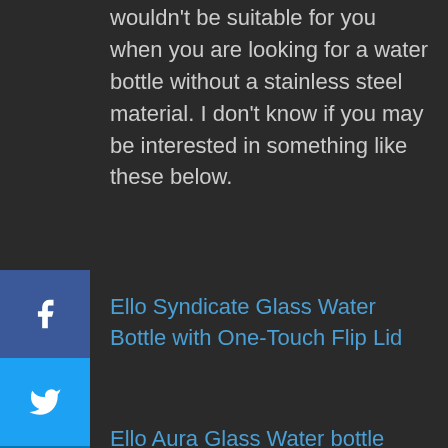wouldn't be suitable for you when you are looking for a water bottle without a stainless steel material. I don't know if you may be interested in something like these below.
Ello Syndicate Glass Water Bottle with One-Touch Flip Lid
Ello Aura Glass Water bottle
Lifefactory Glass Active Flip Cap/Silicone Sleeve Water Bottle
Life Factory Water Bottles with different lid options
Hope this helps!
Reply
Erika OCTOBER 13, 2021
Have you researched Healthy Human